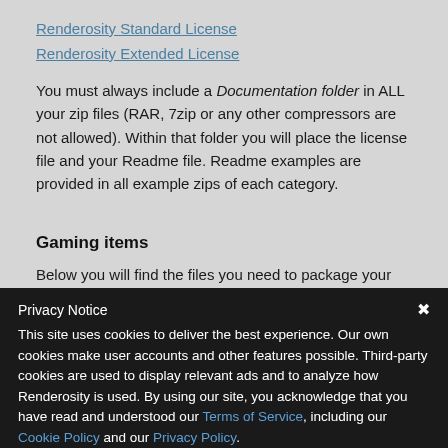Renderosity Standard License
Renderosity Extended License
You must always include a Documentation folder in ALL your zip files (RAR, 7zip or any other compressors are not allowed). Within that folder you will place the license file and your Readme file. Readme examples are provided in all example zips of each category.
Gaming items
Below you will find the files you need to package your
Privacy Notice
This site uses cookies to deliver the best experience. Our own cookies make user accounts and other features possible. Third-party cookies are used to display relevant ads and to analyze how Renderosity is used. By using our site, you acknowledge that you have read and understood our Terms of Service, including our Cookie Policy and our Privacy Policy.